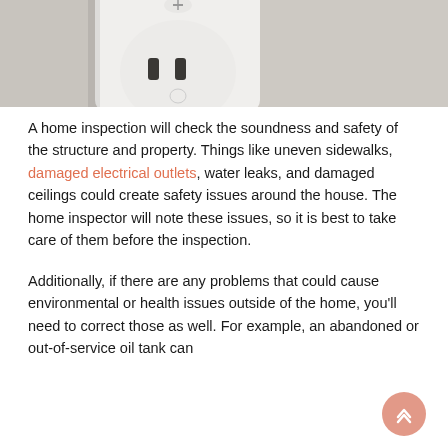[Figure (photo): Close-up photo of a white electrical outlet mounted on a wall, showing a standard duplex receptacle with two slots and a round ground hole.]
A home inspection will check the soundness and safety of the structure and property. Things like uneven sidewalks, damaged electrical outlets, water leaks, and damaged ceilings could create safety issues around the house. The home inspector will note these issues, so it is best to take care of them before the inspection.
Additionally, if there are any problems that could cause environmental or health issues outside of the home, you'll need to correct those as well. For example, an abandoned or out-of-service oil tank can